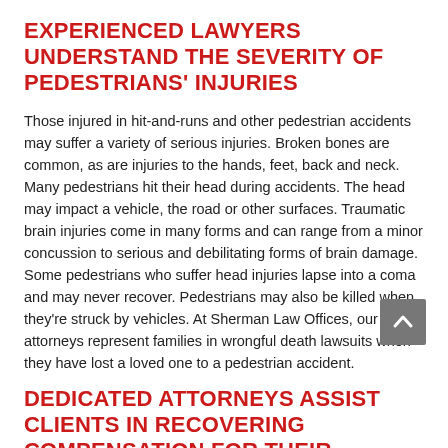EXPERIENCED LAWYERS UNDERSTAND THE SEVERITY OF PEDESTRIANS' INJURIES
Those injured in hit-and-runs and other pedestrian accidents may suffer a variety of serious injuries. Broken bones are common, as are injuries to the hands, feet, back and neck. Many pedestrians hit their head during accidents. The head may impact a vehicle, the road or other surfaces. Traumatic brain injuries come in many forms and can range from a minor concussion to serious and debilitating forms of brain damage. Some pedestrians who suffer head injuries lapse into a coma and may never recover. Pedestrians may also be killed when they're struck by vehicles. At Sherman Law Offices, our injury attorneys represent families in wrongful death lawsuits when they have lost a loved one to a pedestrian accident.
DEDICATED ATTORNEYS ASSIST CLIENTS IN RECOVERING COMPENSATION FOR THEIR LOSSES